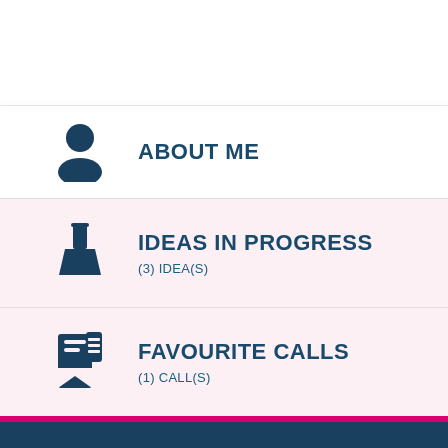ABOUT ME
IDEAS IN PROGRESS
(3) IDEA(S)
FAVOURITE CALLS
(1) CALL(S)
Up2Europe® © 2022 – All rights reserved